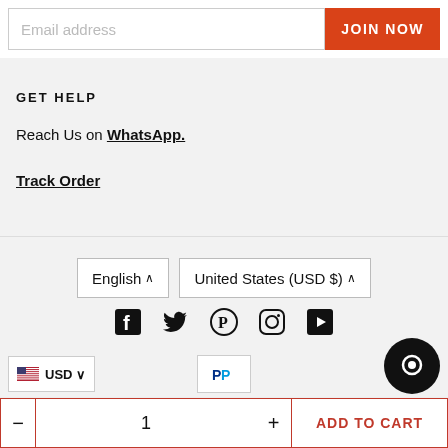[Figure (screenshot): Email address input field with JOIN NOW orange button]
GET HELP
Reach Us on WhatsApp.
Track Order
[Figure (screenshot): Language selector (English) and currency selector (United States USD $) dropdowns]
[Figure (screenshot): Social media icons: Facebook, Twitter, Pinterest, Instagram, YouTube]
[Figure (screenshot): USD currency selector with US flag, PayPal payment icon, and chat bubble button]
[Figure (screenshot): Add to cart bar with minus, quantity 1, plus, and ADD TO CART button]